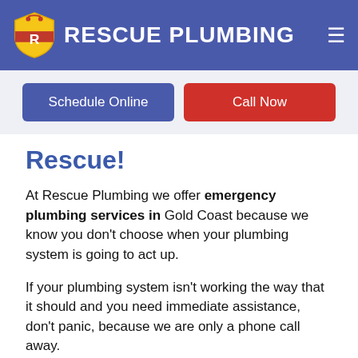RESCUE PLUMBING
Schedule Online
Call Now
Rescue!
At Rescue Plumbing we offer emergency plumbing services in Gold Coast because we know you don't choose when your plumbing system is going to act up.
If your plumbing system isn't working the way that it should and you need immediate assistance, don't panic, because we are only a phone call away.
No job is ever too small or too complex for our pros at Rescue Plumbing. Some of the residential and